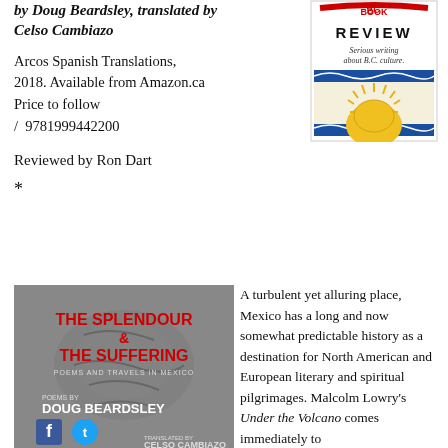by Doug Beardsley, translated by Celso Cambiazo
[Figure (logo): BC Review logo — red arc text over 'REVIEW', 'Serious writing about B.C. culture.' tagline, blue wave and sun graphic]
Arcos Spanish Translations, 2018. Available from Amazon.ca Price to follow / 9781999442200
Reviewed by Ron Dart
*
[Figure (photo): Book cover of 'The Splendour & The Suffering: Poems and Travels in Mexico' by Doug Beardsley, translated by Celso Cambiazo. Stone carving background, red title text, Facebook and Twitter icons, author and translator names.]
A turbulent yet alluring place, Mexico has a long and now somewhat predictable history as a destination for North American and European literary and spiritual pilgrimages. Malcolm Lowry's Under the Volcano comes immediately to